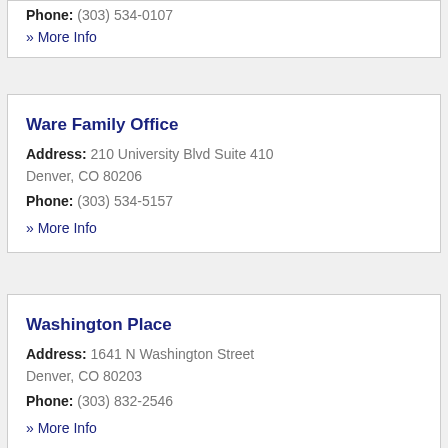Phone: (303) 534-0107
» More Info
Ware Family Office
Address: 210 University Blvd Suite 410 Denver, CO 80206
Phone: (303) 534-5157
» More Info
Washington Place
Address: 1641 N Washington Street Denver, CO 80203
Phone: (303) 832-2546
» More Info